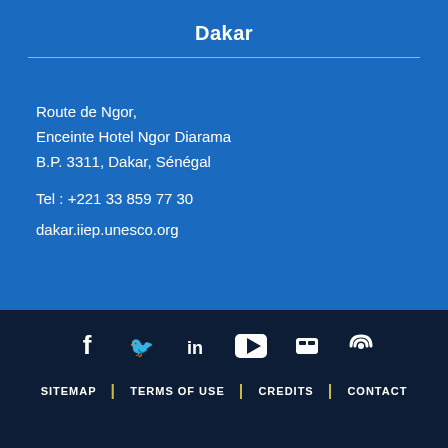Dakar
Route de Ngor,
Enceinte Hotel Ngor Diarama
B.P. 3311, Dakar, Sénégal
Tel : +221 33 859 77 30
dakar.iiep.unesco.org
[Figure (infographic): Social media icons row: Facebook, Twitter, LinkedIn, YouTube, Slideshare/Flickr, RSS feed]
SITEMAP | TERMS OF USE | CREDITS | CONTACT